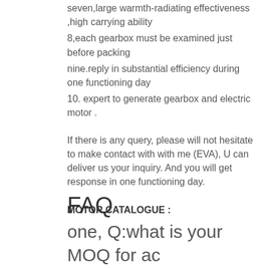seven,large warmth-radiating effectiveness ,high carrying ability
8,each gearbox must be examined just before packing
nine.reply in substantial efficiency during one functioning day
10. expert to generate gearbox and electric motor .
If there is any query, please will not hesitate to make contact with with me (EVA), U can deliver us your inquiry. And you will get response in one functioning day.
MOTOR CATALOGUE :
FAQ
one, Q:what is your MOQ for ac